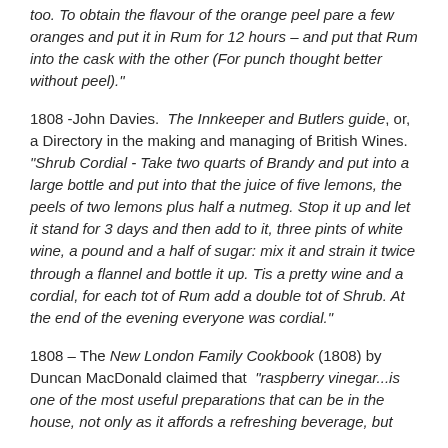too. To obtain the flavour of the orange peel pare a few oranges and put it in Rum for 12 hours – and put that Rum into the cask with the other (For punch thought better without peel)."
1808 -John Davies. The Innkeeper and Butlers guide, or, a Directory in the making and managing of British Wines. "Shrub Cordial - Take two quarts of Brandy and put into a large bottle and put into that the juice of five lemons, the peels of two lemons plus half a nutmeg. Stop it up and let it stand for 3 days and then add to it, three pints of white wine, a pound and a half of sugar: mix it and strain it twice through a flannel and bottle it up. Tis a pretty wine and a cordial, for each tot of Rum add a double tot of Shrub. At the end of the evening everyone was cordial."
1808 – The New London Family Cookbook (1808) by Duncan MacDonald claimed that "raspberry vinegar...is one of the most useful preparations that can be in the house, not only as it affords a refreshing beverage, but